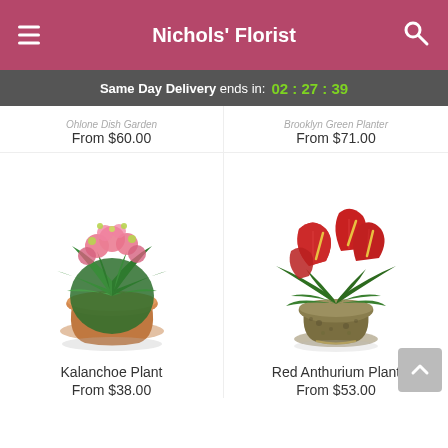Nichols' Florist
Same Day Delivery ends in: 02 : 27 : 39
From $60.00
From $71.00
[Figure (photo): Kalanchoe plant with pink flowers in a terracotta pot]
Kalanchoe Plant
From $38.00
[Figure (photo): Red Anthurium plant with red spathe flowers in a dark textured pot]
Red Anthurium Plant
From $53.00